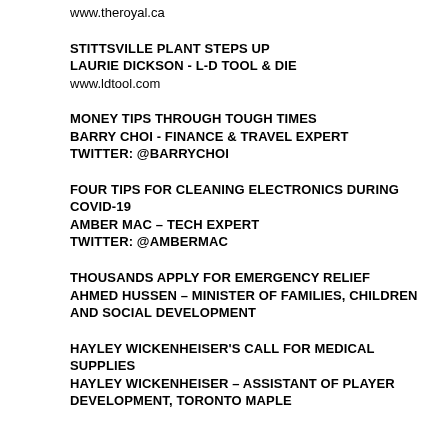www.theroyal.ca
STITTSVILLE PLANT STEPS UP
LAURIE DICKSON - L-D TOOL & DIE
www.ldtool.com
MONEY TIPS THROUGH TOUGH TIMES
BARRY CHOI - FINANCE & TRAVEL EXPERT
TWITTER: @BarryChoi
FOUR TIPS FOR CLEANING ELECTRONICS DURING COVID-19
AMBER MAC – TECH EXPERT
TWITTER: @AmberMac
THOUSANDS APPLY FOR EMERGENCY RELIEF
AHMED HUSSEN – MINISTER OF FAMILIES, CHILDREN AND SOCIAL DEVELOPMENT
HAYLEY WICKENHEISER'S CALL FOR MEDICAL SUPPLIES
HAYLEY WICKENHEISER – ASSISTANT OF PLAYER DEVELOPMENT, TORONTO MAPLE